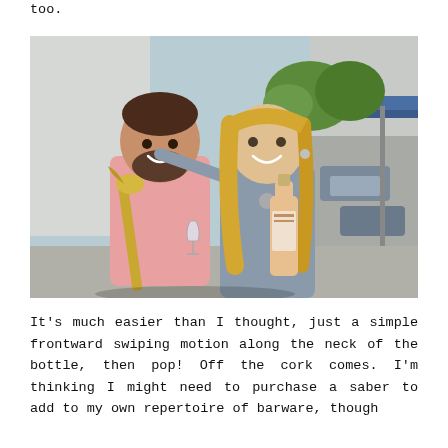too.
[Figure (photo): A man and a woman standing outside in front of a building. The man is wearing a pink shirt and holding a decorative gold saber in one hand and a wine glass in the other. The woman has long blonde hair, is wearing a gray tank top, and is holding a bottle of rosé wine. They are smiling and posing together.]
It's much easier than I thought, just a simple frontward swiping motion along the neck of the bottle, then pop! Off the cork comes. I'm thinking I might need to purchase a saber to add to my own repertoire of barware, though